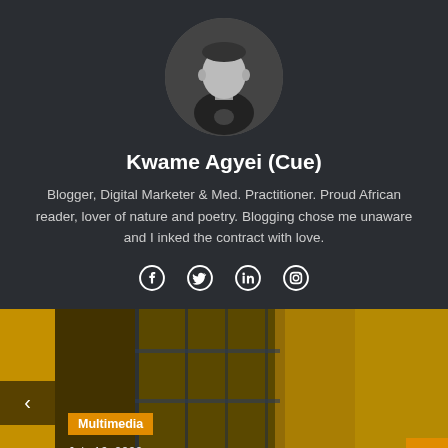[Figure (photo): Circular profile photo of a young man in a black t-shirt, black and white photo]
Kwame Agyei (Cue)
Blogger, Digital Marketer & Med. Practitioner. Proud African reader, lover of nature and poetry. Blogging chose me unaware and I inked the contract with love.
[Figure (infographic): Social media icons: Facebook, Twitter, LinkedIn, Instagram]
[Figure (photo): Photo of a warehouse or industrial space with metal shelving and golden light]
Multimedia
July 16, 2022
Larruso drops official video for “Carolina”